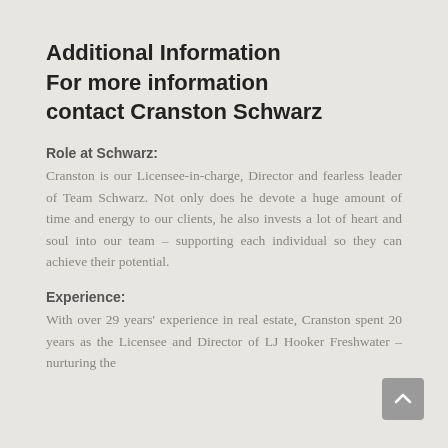Additional Information For more information contact Cranston Schwarz
Role at Schwarz:
Cranston is our Licensee-in-charge, Director and fearless leader of Team Schwarz. Not only does he devote a huge amount of time and energy to our clients, he also invests a lot of heart and soul into our team – supporting each individual so they can achieve their potential.
Experience:
With over 29 years' experience in real estate, Cranston spent 20 years as the Licensee and Director of LJ Hooker Freshwater – nurturing the